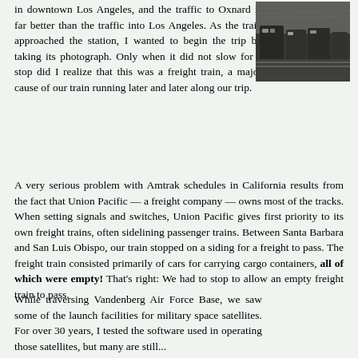in downtown Los Angeles, and the traffic to Oxnard is far better than the traffic into Los Angeles. As the train approached the station, I wanted to begin the trip by taking its photograph. Only when it did not slow for a stop did I realize that this was a freight train, a major cause of our train running later and later along our trip.
[Figure (photo): Black and white photograph of a freight train with multiple locomotives at a rail yard or station]
A very serious problem with Amtrak schedules in California results from the fact that Union Pacific — a freight company — owns most of the tracks. When setting signals and switches, Union Pacific gives first priority to its own freight trains, often sidelining passenger trains. Between Santa Barbara and San Luis Obispo, our train stopped on a siding for a freight to pass. The freight train consisted primarily of cars for carrying cargo containers, all of which were empty! That's right: We had to stop to allow an empty freight train to pass.
While traversing Vandenberg Air Force Base, we saw some of the launch facilities for military space satellites. For over 30 years, I tested the software used in operating those satellites, but many are still...